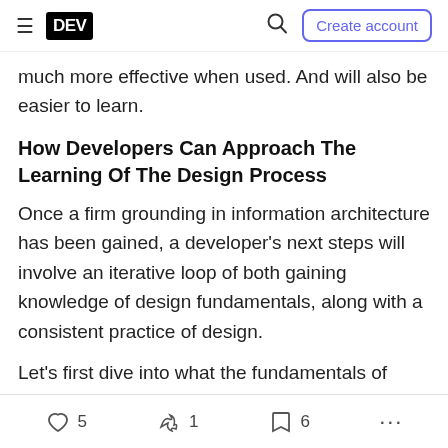DEV | Create account
much more effective when used. And will also be easier to learn.
How Developers Can Approach The Learning Of The Design Process
Once a firm grounding in information architecture has been gained, a developer's next steps will involve an iterative loop of both gaining knowledge of design fundamentals, along with a consistent practice of design.
Let's first dive into what the fundamentals of design
5  1  6  ...